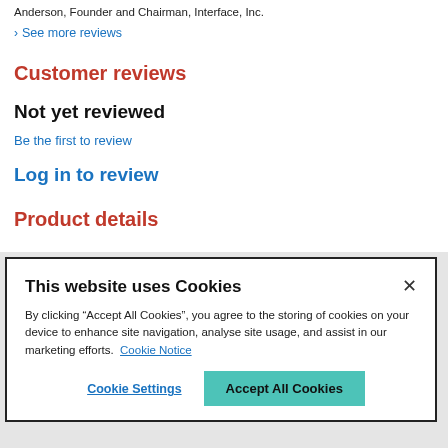Anderson, Founder and Chairman, Interface, Inc.
See more reviews
Customer reviews
Not yet reviewed
Be the first to review
Log in to review
Product details
This website uses Cookies
By clicking “Accept All Cookies”, you agree to the storing of cookies on your device to enhance site navigation, analyse site usage, and assist in our marketing efforts.  Cookie Notice
Cookie Settings
Accept All Cookies